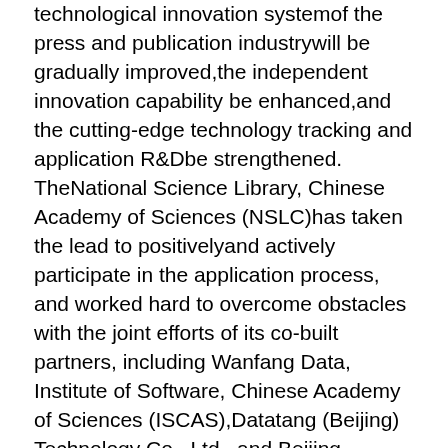technological innovation systemof the press and publication industrywill be gradually improved,the independent innovation capability be enhanced,and the cutting-edge technology tracking and application R&Dbe strengthened. TheNational Science Library, Chinese Academy of Sciences (NSLC)has taken the lead to positivelyand actively participate in the application process, and worked hard to overcome obstacles with the joint efforts of its co-built partners, including Wanfang Data, Institute of Software, Chinese Academy of Sciences (ISCAS),Datatang (Beijing) Technology Co., Ltd., and Beijing Magtech Science&Techology Development Co.Ltd.The laboratory was finally approved after rounds of reviewswithin two months. It is among the first group of key S&T and standards laboratories of the press and publication industryapproved by the SAPPRFT. The "Key Laboratory of Dynamic Semantic Publishing and Knowledge Service of Academic Journals" (hereinafter